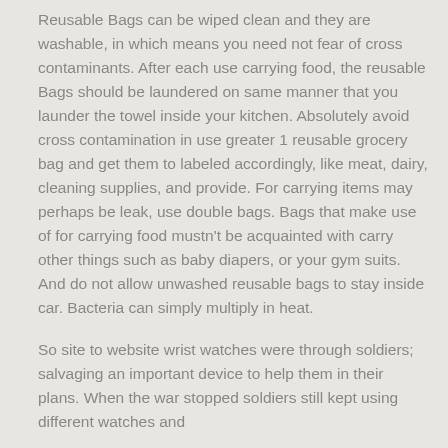Reusable Bags can be wiped clean and they are washable, in which means you need not fear of cross contaminants. After each use carrying food, the reusable Bags should be laundered on same manner that you launder the towel inside your kitchen. Absolutely avoid cross contamination in use greater 1 reusable grocery bag and get them to labeled accordingly, like meat, dairy, cleaning supplies, and provide. For carrying items may perhaps be leak, use double bags. Bags that make use of for carrying food mustn't be acquainted with carry other things such as baby diapers, or your gym suits. And do not allow unwashed reusable bags to stay inside car. Bacteria can simply multiply in heat.
So site to website wrist watches were through soldiers; salvaging an important device to help them in their plans. When the war stopped soldiers still kept using different watches and